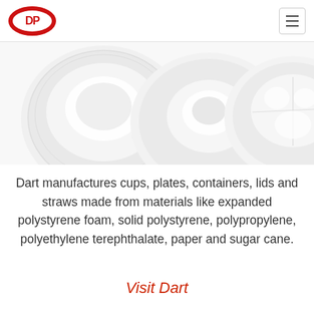DP logo and hamburger menu
[Figure (photo): Three white plastic/disposable plates photographed from above on a white background]
Dart manufactures cups, plates, containers, lids and straws made from materials like expanded polystyrene foam, solid polystyrene, polypropylene, polyethylene terephthalate, paper and sugar cane.
Visit Dart